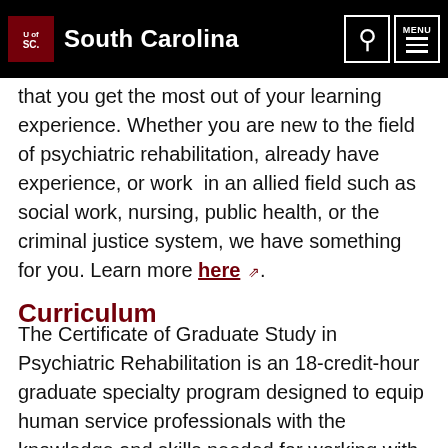South Carolina
that you get the most out of your learning experience. Whether you are new to the field of psychiatric rehabilitation, already have experience, or work in an allied field such as social work, nursing, public health, or the criminal justice system, we have something for you. Learn more here.
Curriculum
The Certificate of Graduate Study in Psychiatric Rehabilitation is an 18-credit-hour graduate specialty program designed to equip human service professionals with the knowledge and skills needed for working with